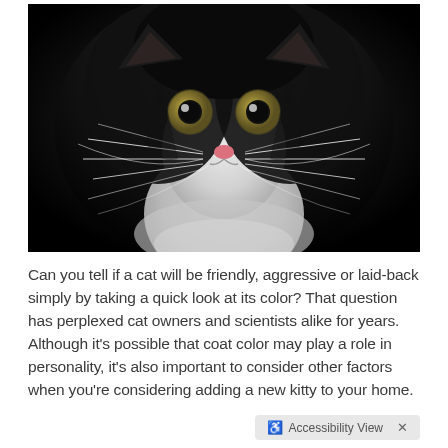[Figure (photo): Close-up photograph of a black and white kitten with wide golden-green eyes, pink nose, long white whiskers, and fluffy black fur, looking directly at the camera against a dark background.]
Can you tell if a cat will be friendly, aggressive or laid-back simply by taking a quick look at its color? That question has perplexed cat owners and scientists alike for years. Although it's possible that coat color may play a role in personality, it's also important to consider other factors when you're considering adding a new kitty to your home.